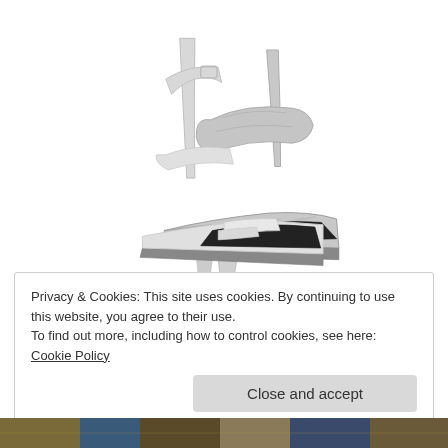[Figure (photo): Two silver/white high-heel sandals on white background. Left shoe is a T-strap metallic silver crackle-texture stiletto. Right shoe is a white ankle-strap stiletto with minimal toe strap.]
Privacy & Cookies: This site uses cookies. By continuing to use this website, you agree to their use.
To find out more, including how to control cookies, see here: Cookie Policy
Close and accept
[Figure (photo): Partial bottom strip showing colorful accessories/jewelry image in dark tones.]